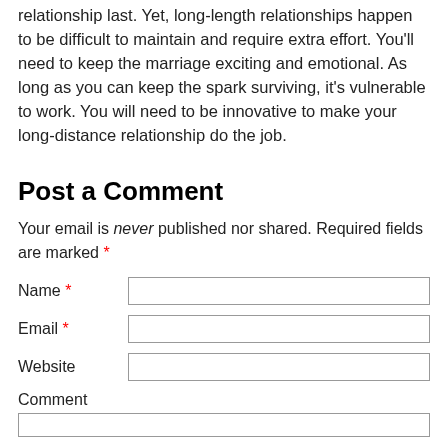relationship last. Yet, long-length relationships happen to be difficult to maintain and require extra effort. You'll need to keep the marriage exciting and emotional. As long as you can keep the spark surviving, it's vulnerable to work. You will need to be innovative to make your long-distance relationship do the job.
Post a Comment
Your email is never published nor shared. Required fields are marked *
Name * [input field]
Email * [input field]
Website [input field]
Comment [textarea]